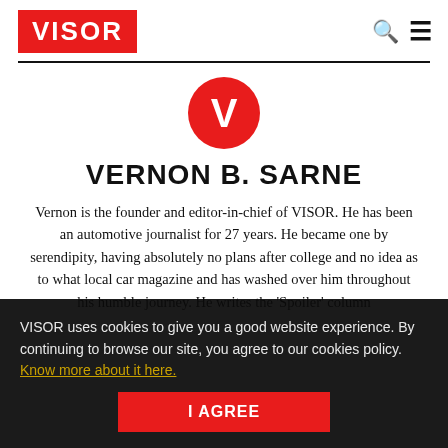VISOR
[Figure (logo): Red circle with white V letter, VISOR brand logo]
VERNON B. SARNE
Vernon is the founder and editor-in-chief of VISOR. He has been an automotive journalist for 27 years. He became one by serendipity, having absolutely no plans after college and no idea as to what local car magazine and has washed over him throughout his humble journey. He writes the 'Spoiler' column
VISOR uses cookies to give you a good website experience. By continuing to browse our site, you agree to our cookies policy. Know more about it here.